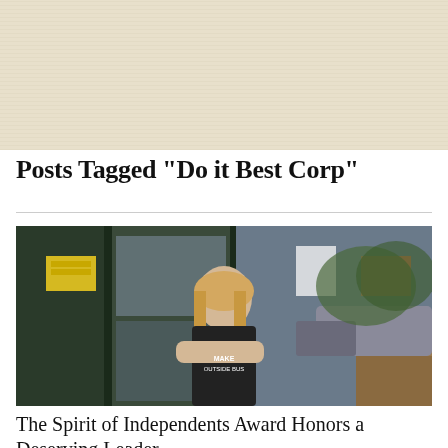[Figure (photo): Beige/tan textured banner background at top of page]
Posts Tagged "Do it Best Corp"
[Figure (photo): Young blonde woman standing with arms crossed in front of a hardware store storefront with signs and cars visible in background]
The Spirit of Independents Award Honors a Deserving Leader
Independent We Stand presented T & M Hardware & Rental's Samantha...